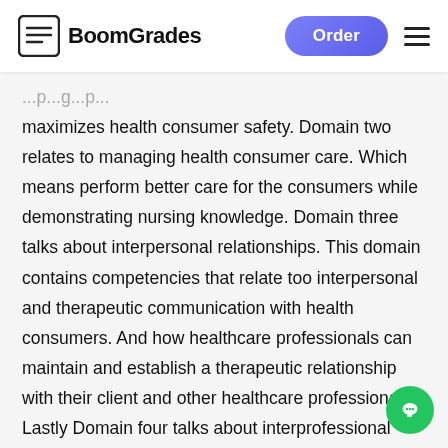BoomGrades | Order
maximizes health consumer safety. Domain two relates to managing health consumer care. Which means perform better care for the consumers while demonstrating nursing knowledge. Domain three talks about interpersonal relationships. This domain contains competencies that relate too interpersonal and therapeutic communication with health consumers. And how healthcare professionals can maintain and establish a therapeutic relationship with their client and other healthcare professionals. Lastly Domain four talks about interprofessional health care and quality improvement. This domain contains competencies that demonstrate how hea